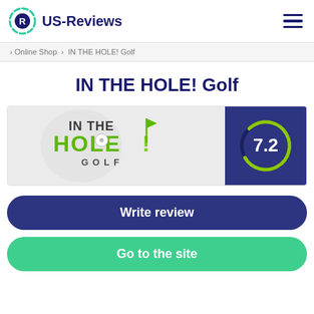US-Reviews
Online Shop > IN THE HOLE! Golf
IN THE HOLE! Golf
[Figure (logo): IN THE HOLE! Golf brand logo with a golf ball and flag design, green stylized text, alongside a dark blue score box showing 7.2 in a green circular gauge]
Write review
Go to the site